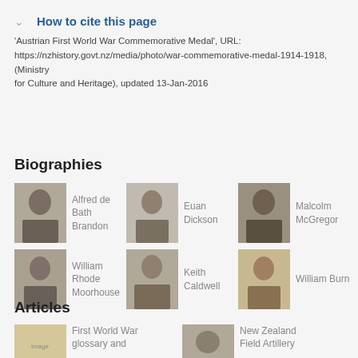How to cite this page
'Austrian First World War Commemorative Medal', URL: https://nzhistory.govt.nz/media/photo/war-commemorative-medal-1914-1918, (Ministry for Culture and Heritage), updated 13-Jan-2016
Biographies
[Figure (photo): Portrait photo of Alfred de Bath Brandon]
Alfred de Bath Brandon
[Figure (photo): Portrait photo of Euan Dickson]
Euan Dickson
[Figure (photo): Portrait photo of Malcolm McGregor]
Malcolm McGregor
[Figure (photo): Portrait photo of William Rhode Moorhouse]
William Rhode Moorhouse
[Figure (photo): Portrait photo of Keith Caldwell]
Keith Caldwell
[Figure (photo): Portrait photo of William Burn]
William Burn
Articles
[Figure (photo): Image related to First World War glossary article]
First World War glossary and
[Figure (photo): Image related to New Zealand Field Artillery article]
New Zealand Field Artillery